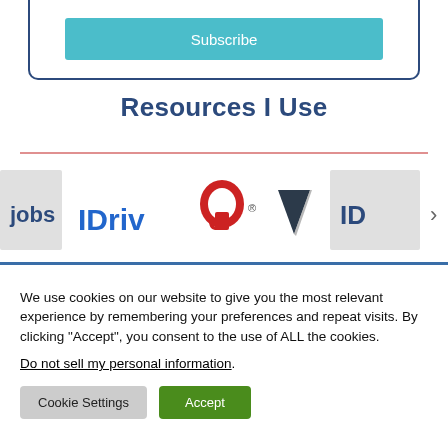[Figure (other): Subscribe button inside a rounded bordered box (dark blue border), teal/cyan colored Subscribe button]
Resources I Use
[Figure (other): Horizontal logo strip showing: xjobs logo (partial), IDrive logo (blue and red), a triangle/arrow logo, and partial ID logo on the right]
We use cookies on our website to give you the most relevant experience by remembering your preferences and repeat visits. By clicking “Accept”, you consent to the use of ALL the cookies.
Do not sell my personal information.
Cookie Settings   Accept